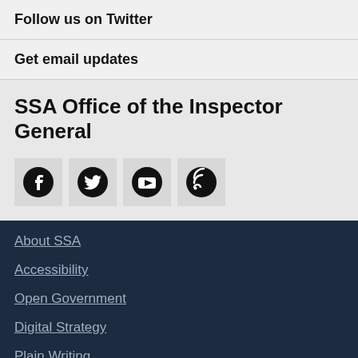Follow us on Twitter
Get email updates
SSA Office of the Inspector General
[Figure (illustration): Four social media icons: Facebook, Twitter, YouTube, RSS feed]
About SSA
Accessibility
Open Government
Digital Strategy
Plain Writing